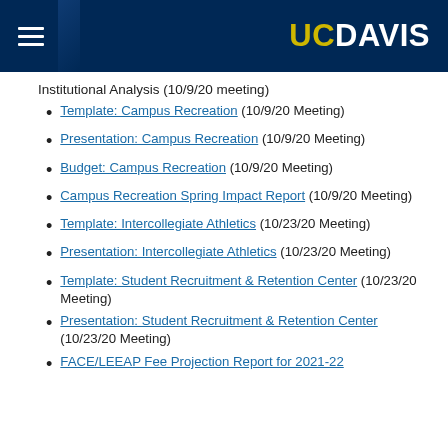UC DAVIS
Institutional Analysis (10/9/20 meeting)
Template: Campus Recreation  (10/9/20 Meeting)
Presentation: Campus Recreation  (10/9/20 Meeting)
Budget: Campus Recreation  (10/9/20 Meeting)
Campus Recreation Spring Impact Report  (10/9/20 Meeting)
Template: Intercollegiate Athletics  (10/23/20 Meeting)
Presentation: Intercollegiate Athletics  (10/23/20 Meeting)
Template: Student Recruitment & Retention Center  (10/23/20 Meeting)
Presentation: Student Recruitment & Retention Center  (10/23/20 Meeting)
FACE/LEEAP Fee Projection Report for 2021-22